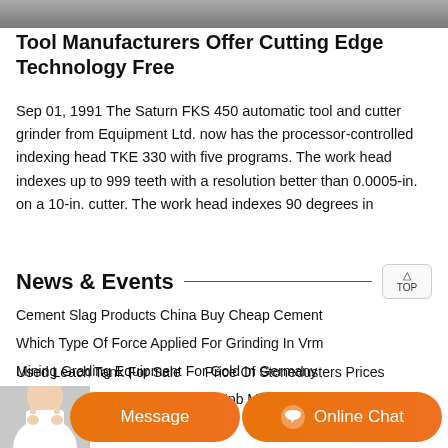[Figure (photo): Top banner image showing industrial/tool machinery, partially cropped]
Tool Manufacturers Offer Cutting Edge Technology Free
Sep 01, 1991 The Saturn FKS 450 automatic tool and cutter grinder from Equipment Ltd. now has the processor-controlled indexing head TKE 330 with five programs. The work head indexes up to 999 teeth with a resolution better than 0.0005-in. on a 10-in. cutter. The work head indexes 90 degrees in
News & Events
Cement Slag Products China Buy Cheap Cement
Which Type Of Force Applied For Grinding In Vrm
Mining Grading Equipment For Gold In Germany
Coal Mine Equipment New    Hpb Mobile Cone Crusher Yemen
Used Leach Tank For Sale    Price Of Stonedusters Prices